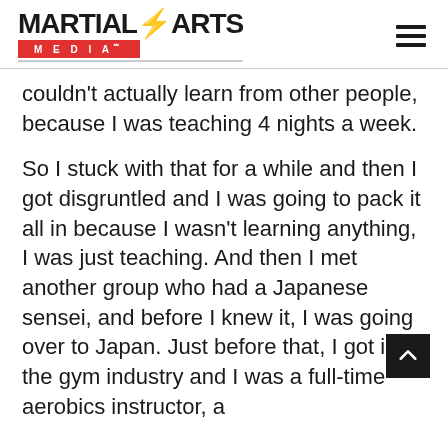MARTIAL ARTS MEDIA
couldn't actually learn from other people, because I was teaching 4 nights a week.
So I stuck with that for a while and then I got disgruntled and I was going to pack it all in because I wasn't learning anything, I was just teaching. And then I met another group who had a Japanese sensei, and before I knew it, I was going over to Japan. Just before that, I got into the gym industry and I was a full-time aerobics instructor, a